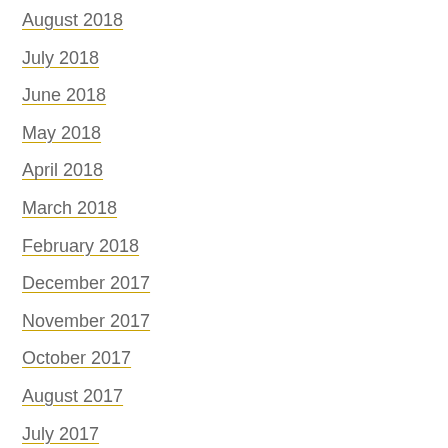August 2018
July 2018
June 2018
May 2018
April 2018
March 2018
February 2018
December 2017
November 2017
October 2017
August 2017
July 2017
January 2017
December 2016